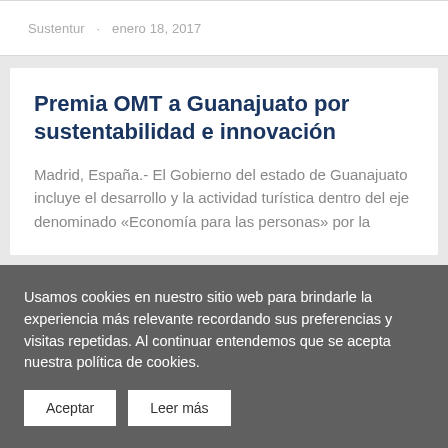Sustentur · enero 18, 2017
Premia OMT a Guanajuato por sustentabilidad e innovación
Madrid, España.- El Gobierno del estado de Guanajuato incluye el desarrollo y la actividad turística dentro del eje denominado «Economía para las personas» por la
Usamos cookies en nuestro sitio web para brindarle la experiencia más relevante recordando sus preferencias y visitas repetidas. Al continuar entendemos que se acepta nuestra política de cookies.
Aceptar
Leer más